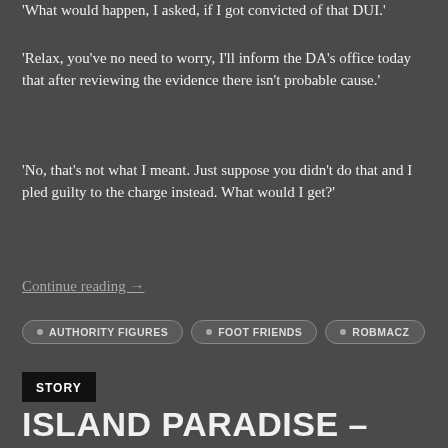'What would happen, I asked, if I got convicted of that DUI.'
'Relax, you've no need to worry, I'll inform the DA's office today that after reviewing the evidence there isn't probable cause.'
'No, that's not what I meant. Just suppose you didn't do that and I pled guilty to the charge instead. What would I get?'
Continue reading →
• AUTHORITY FIGURES  • FOOT FRIENDS  • ROBMACZ
STORY
ISLAND PARADISE – PART 1: CHAPTER 07